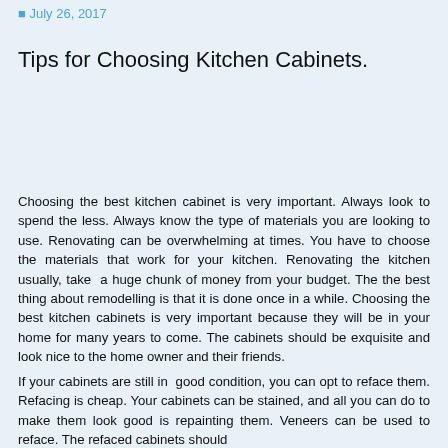July 26, 2017
Tips for Choosing Kitchen Cabinets.
Choosing the best kitchen cabinet is very important. Always look to spend the less. Always know the type of materials you are looking to use. Renovating can be overwhelming at times. You have to choose the materials that work for your kitchen. Renovating the kitchen usually, take a huge chunk of money from your budget. The the best thing about remodelling is that it is done once in a while. Choosing the best kitchen cabinets is very important because they will be in your home for many years to come. The cabinets should be exquisite and look nice to the home owner and their friends.
If your cabinets are still in good condition, you can opt to reface them. Refacing is cheap. Your cabinets can be stained, and all you can do to make them look good is repainting them. Veneers can be used to reface. The refaced cabinets should